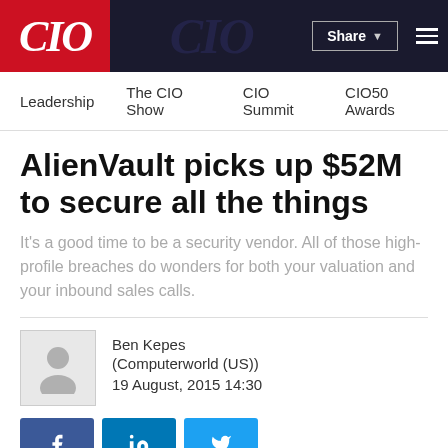CIO
Leadership | The CIO Show | CIO Summit | CIO50 Awards
AlienVault picks up $52M to secure all the things
It's a good time to be a security vendor. All of those high-profile breaches do wonders for both your valuation and your inbound sales calls.
Ben Kepes
(Computerworld (US))
19 August, 2015 14:30